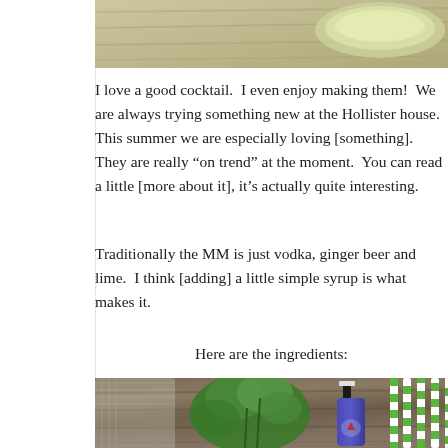[Figure (photo): Top portion of a photo showing drinks on a wooden surface with a pale yellow/green liquid in a glass]
I love a good cocktail.  I even enjoy making them!  We are always trying something new at the Hollister house.  This summer we are especially loving [something].  They are really “on trend” at the moment.  You can read a little [more about it], it’s actually quite interesting.
Traditionally the MM is just vodka, ginger beer and lime.  I think [adding] a little simple syrup is what makes it.
Here are the ingredients:
[Figure (photo): Photo of cocktail ingredients on a wooden surface: fresh mint, a blue glass bottle with a red starfish label, and green and white striped paper straws, with a woven textile in the background]